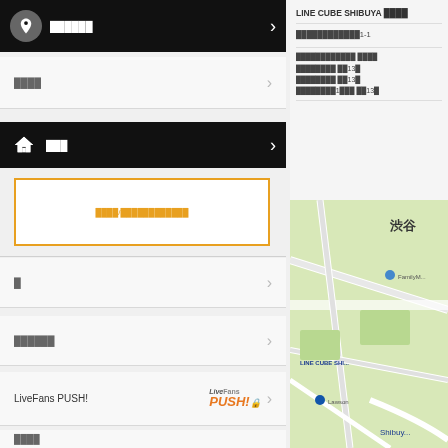🍦 ██████
████
🏠 ███
████/████████████
█
██████
LiveFans PUSH!
████████
████
████
LINE CUBE SHIBUYA ████
████████████1-1
████████████ ████
████████ ██13█
████████ ██13█
████████1███ ██13█
[Figure (map): Street map showing LINE CUBE SHIBUYA area in Shibuya, Tokyo with roads and landmarks including FamilyMart and Lawson]